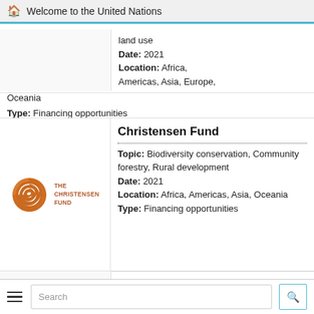Welcome to the United Nations
land use
Date: 2021
Location: Africa, Americas, Asia, Europe, Oceania
Type: Financing opportunities
Christensen Fund
Topic: Biodiversity conservation, Community forestry, Rural development
Date: 2021
Location: Africa, Americas, Asia, Oceania
Type: Financing opportunities
[Figure (logo): The Christensen Fund logo — orange spiral icon with text THE CHRISTENSEN FUND]
Adaptation Fund